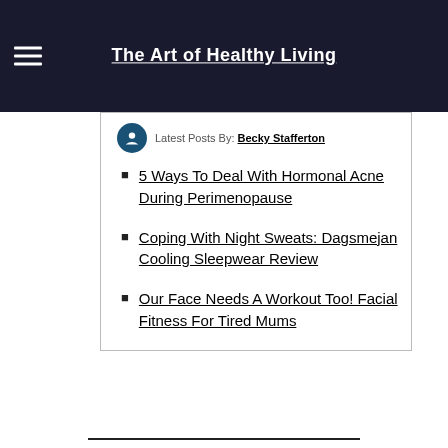The Art of Healthy Living
Latest Posts By: Becky Stafferton
5 Ways To Deal With Hormonal Acne During Perimenopause
Coping With Night Sweats: Dagsmejan Cooling Sleepwear Review
Our Face Needs A Workout Too! Facial Fitness For Tired Mums